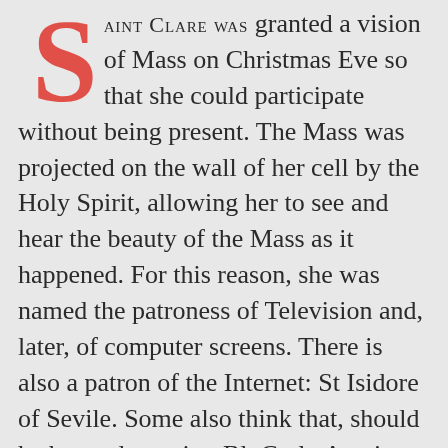SAINT CLARE WAS granted a vision of Mass on Christmas Eve so that she could participate without being present. The Mass was projected on the wall of her cell by the Holy Spirit, allowing her to see and hear the beauty of the Mass as it happened. For this reason, she was named the patroness of Television and, later, of computer screens. There is also a patron of the Internet: St Isidore of Sevile. Some also think that, should he be made a saint, Bl. Carlo Acutis may share this patronage.